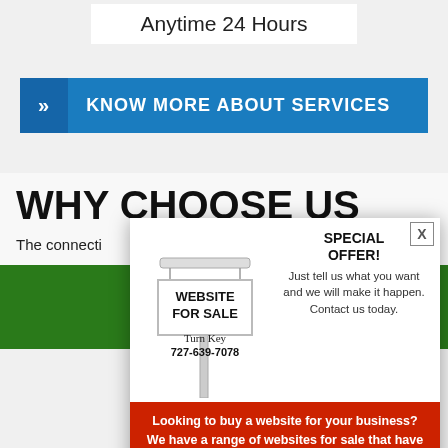Anytime 24 Hours
» KNOW MORE ABOUT SERVICES
WHY CHOOSE US
The connecti... lients are our company ... it each and every job the ... ry own home, with h... a look below and se... ck us.
[Figure (infographic): Popup overlay showing a real estate sign with 'WEBSITE FOR SALE', 'Turn Key', phone number '727-639-7078', a 'SPECIAL OFFER!' section, and a red banner about buying websites.]